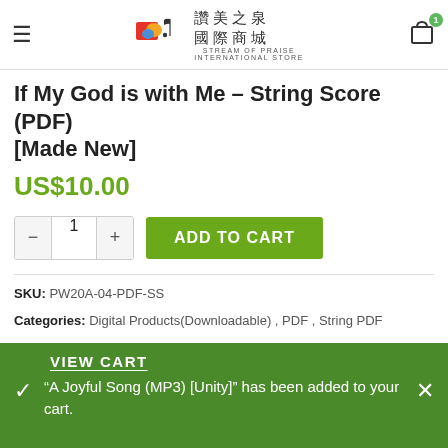Stream of Praise International Store — 讚美之泉 國際商城
If My God is with Me – String Score (PDF) [Made New]
US$10.00
- 1 + ADD TO CART
SKU: PW20A-04-PDF-SS
Categories: Digital Products(Downloadable), PDF, String PDF
Tags: PDF, PW20A, SS
VIEW CART
"A Joyful Song (MP3) [Unity]" has been added to your cart.